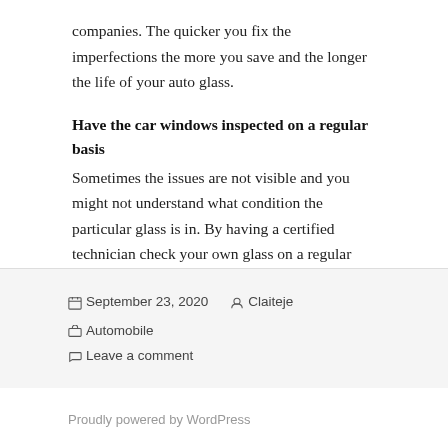companies. The quicker you fix the imperfections the more you save and the longer the life of your auto glass.
Have the car windows inspected on a regular basis
Sometimes the issues are not visible and you might not understand what condition the particular glass is in. By having a certified technician check your own glass on a regular basis, root issues like small cracks and pits or even weaknesses can be arrested with time before they develop into serious issues.
September 23, 2020  Claiteje  Automobile  Leave a comment
Proudly powered by WordPress